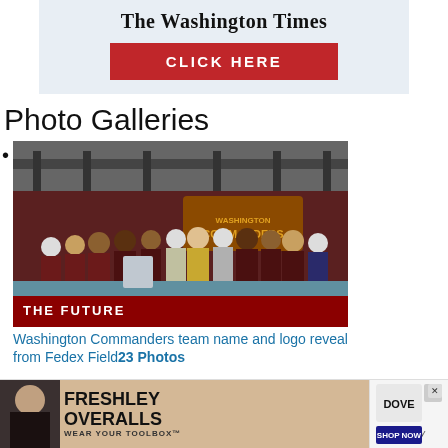[Figure (logo): The Washington Times newspaper logo with 'CLICK HERE' red button advertisement banner]
Photo Galleries
Washington Commanders team name and logo reveal from Fedex Field 23 Photos
[Figure (photo): Group photo on a stage at Washington Commanders team name and logo reveal event at FedEx Field. People wearing maroon and gold letterman jackets standing on stage with a 'THE FUTURE' banner visible at bottom. Washington Commanders backdrop visible.]
Washington Commanders team name and logo reveal from Fedex Field 23 Photos
[Figure (advertisement): Freshley Overalls 'Wear Your Toolbox' advertisement banner at the bottom, with a Dove advertisement on the right side.]